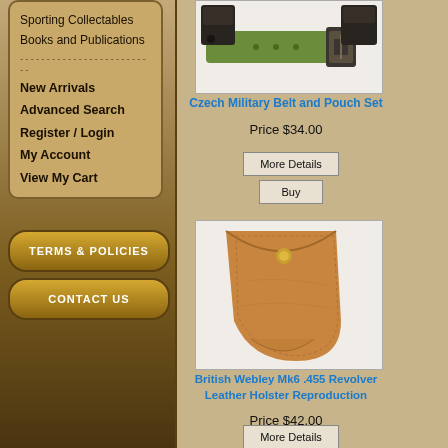Sporting Collectables
Books and Publications
New Arrivals
Advanced Search
Register / Login
My Account
View My Cart
Terms & Policies
Contact Us
[Figure (photo): Czech Military Belt and Pouch Set - green canvas belt with black metal buckle and black pouch]
Czech Military Belt and Pouch Set
Price $34.00
More Details
Buy
[Figure (photo): British Webley Mk6 .455 Revolver Leather Holster Reproduction - tan leather triangular holster with brass stud]
British Webley Mk6 .455 Revolver Leather Holster Reproduction
Price $42.00
More Details
Buy